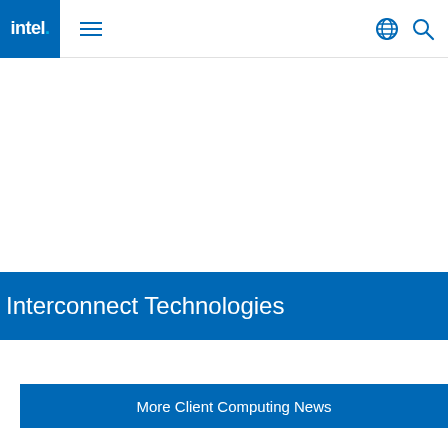[Figure (logo): Intel logo in white on blue background with navigation hamburger menu and globe/search icons]
Interconnect Technologies
[Figure (other): Print and email action icons in blue]
PRESS KIT
December 18, 2020
Contact Intel PR
More Client Computing News